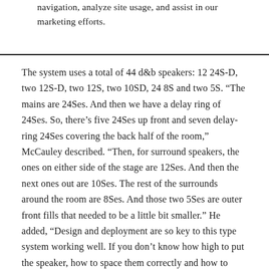navigation, analyze site usage, and assist in our marketing efforts.
The system uses a total of 44 d&b speakers: 12 24S-D, two 12S-D, two 12S, two 10SD, 24 8S and two 5S. “The mains are 24Ses. And then we have a delay ring of 24Ses. So, there’s five 24Ses up front and seven delay-ring 24Ses covering the back half of the room,” McCauley described. “Then, for surround speakers, the ones on either side of the stage are 12Ses. And then the next ones out are 10Ses. The rest of the surrounds around the room are 8Ses. And those two 5Ses are outer front fills that needed to be a little bit smaller.” He added, “Design and deployment are so key to this type system working well. If you don’t know how high to put the speaker, how to space them correctly and how to